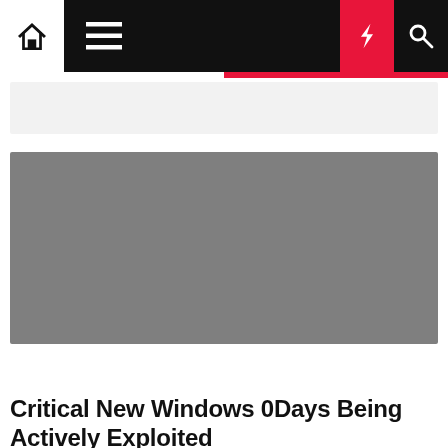Navigation bar with home, menu, moon, lightning, and search icons
[Figure (other): Gray placeholder image for article]
Business Management
Critical New Windows 0Days Being Actively Exploited